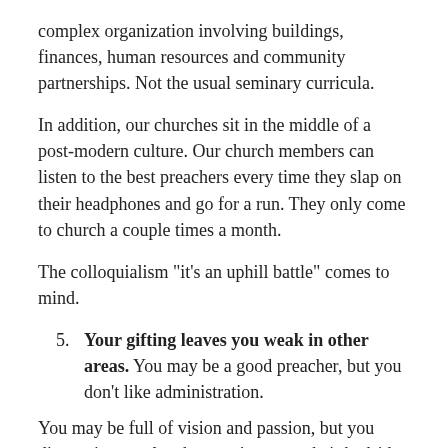complex organization involving buildings, finances, human resources and community partnerships. Not the usual seminary curricula.
In addition, our churches sit in the middle of a post-modern culture. Our church members can listen to the best preachers every time they slap on their headphones and go for a run. They only come to church a couple times a month.
The colloquialism "it's an uphill battle" comes to mind.
5. Your gifting leaves you weak in other areas. You may be a good preacher, but you don't like administration.
You may be full of vision and passion, but you disappoint people when you're not at their bedside.
You may be a great shepherd, but you can't move the church forward.
We bring our strengths to our ministry, but our